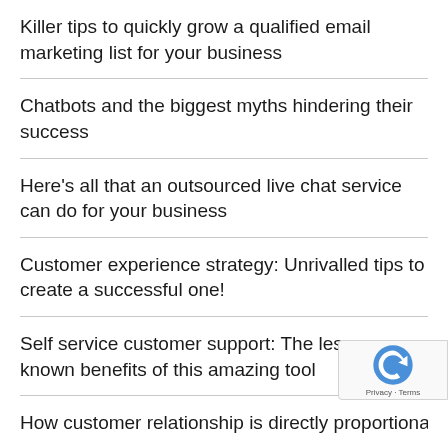Killer tips to quickly grow a qualified email marketing list for your business
Chatbots and the biggest myths hindering their success
Here's all that an outsourced live chat service can do for your business
Customer experience strategy: Unrivalled tips to create a successful one!
Self service customer support: The lesser known benefits of this amazing tool
How customer relationship is directly proportional…